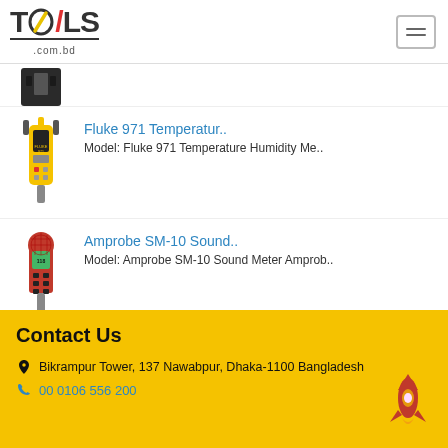TOOLS.com.bd
[Figure (photo): Partial product image at top, dark colored device]
Fluke 971 Temperatur..
Model: Fluke 971 Temperature Humidity Me..
[Figure (photo): Fluke 971 Temperature Humidity Meter, yellow handheld device]
Amprobe SM-10 Sound..
Model: Amprobe SM-10 Sound Meter Amprob..
[Figure (photo): Amprobe SM-10 Sound Meter, red handheld device]
Contact Us
Bikrampur Tower, 137 Nawabpur, Dhaka-1100 Bangladesh